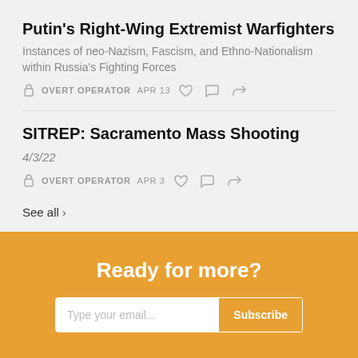Putin's Right-Wing Extremist Warfighters
Instances of neo-Nazism, Fascism, and Ethno-Nationalism within Russia's Fighting Forces
OVERT OPERATOR  APR 13
SITREP: Sacramento Mass Shooting
4/3/22
OVERT OPERATOR  APR 3
See all ›
Ready for more?
Type your email...  Subscribe